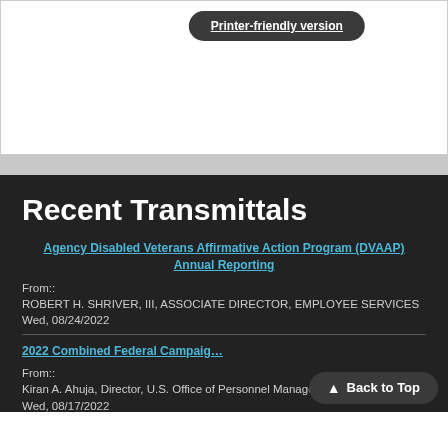[Figure (screenshot): Printer-friendly version button on white background]
Recent Transmittals
Agency Disabled Veterans Affirmative Action Program (DVAAP) Annual Reporting
From:: ROBERT H. SHRIVER, III, ASSOCIATE DIRECTOR, EMPLOYEE SERVICES Wed, 08/24/2022
2022 Combined Federal Campaign
From:: Kiran A. Ahuja, Director, U.S. Office of Personnel Management Wed, 08/17/2022